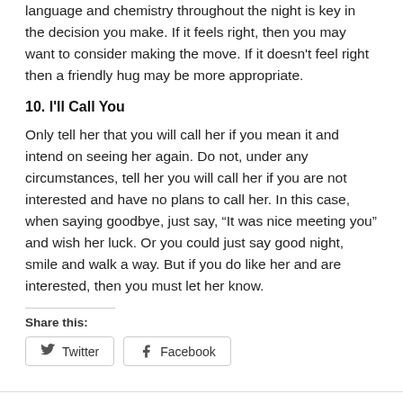language and chemistry throughout the night is key in the decision you make. If it feels right, then you may want to consider making the move. If it doesn't feel right then a friendly hug may be more appropriate.
10. I'll Call You
Only tell her that you will call her if you mean it and intend on seeing her again. Do not, under any circumstances, tell her you will call her if you are not interested and have no plans to call her. In this case, when saying goodbye, just say, “It was nice meeting you” and wish her luck. Or you could just say good night, smile and walk a way. But if you do like her and are interested, then you must let her know.
Share this:
Twitter Facebook